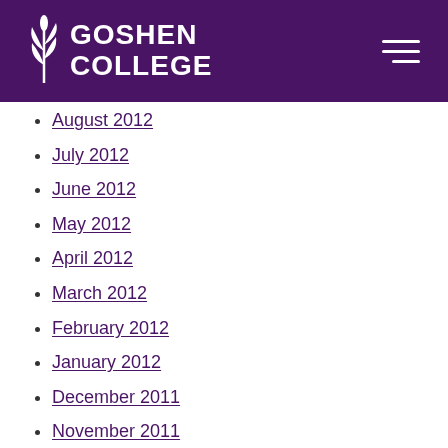[Figure (logo): Goshen College logo with wheat/leaf icon on purple banner header with hamburger menu icon]
August 2012
July 2012
June 2012
May 2012
April 2012
March 2012
February 2012
January 2012
December 2011
November 2011
October 2011